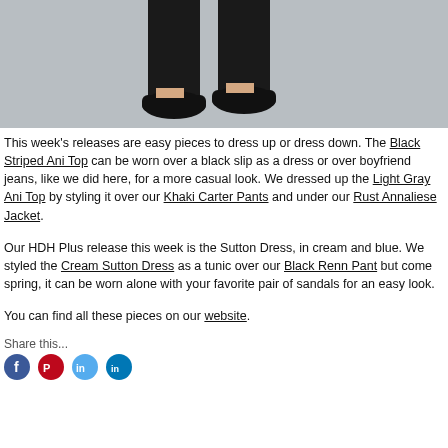[Figure (photo): Close-up photo of a person's lower legs and feet wearing black loafer shoes and dark trousers, on a gray background.]
This week's releases are easy pieces to dress up or dress down. The Black Striped Ani Top can be worn over a black slip as a dress or over boyfriend jeans, like we did here, for a more casual look. We dressed up the Light Gray Ani Top by styling it over our Khaki Carter Pants and under our Rust Annaliese Jacket.
Our HDH Plus release this week is the Sutton Dress, in cream and blue. We styled the Cream Sutton Dress as a tunic over our Black Renn Pant but come spring, it can be worn alone with your favorite pair of sandals for an easy look.
You can find all these pieces on our website.
Share this...
[Figure (other): Social media share icons: Facebook (blue), Pinterest (red), Twitter (light blue), LinkedIn (blue).]